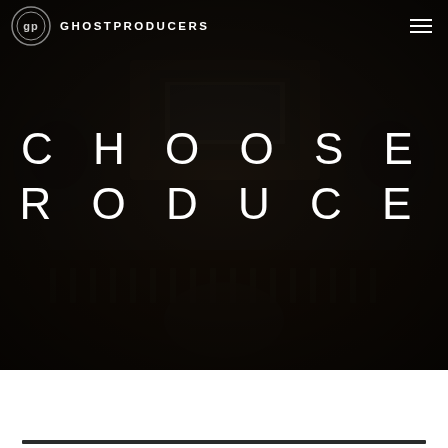[Figure (photo): Dark music studio background photo showing recording equipment, mixing boards, monitors, and producer at work, with heavy dark overlay]
GHOSTPRODUCERS
CHOOSE PRODUCER